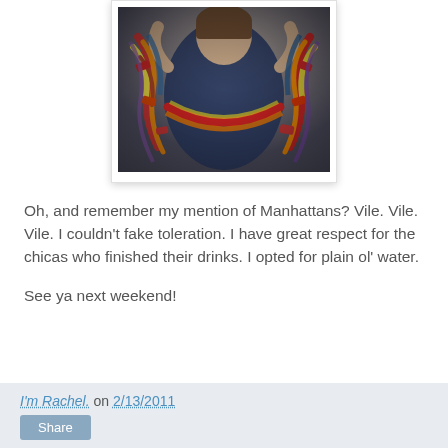[Figure (photo): A woman smiling and holding up a large colorful fabric garland or wreath made of various patterned fabric strips in red, yellow, orange, and other colors. The photo has a slight vignette effect.]
Oh, and remember my mention of Manhattans? Vile. Vile. Vile. I couldn't fake toleration. I have great respect for the chicas who finished their drinks. I opted for plain ol' water.
See ya next weekend!
I'm Rachel. on 2/13/2011 Share